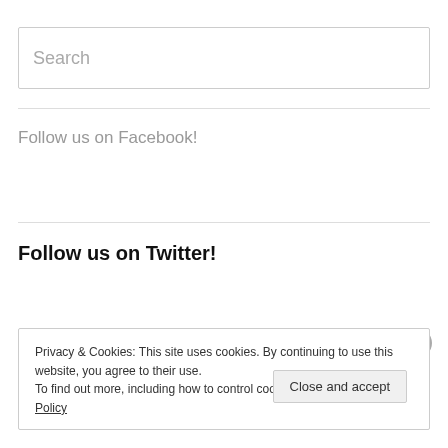Search
Follow us on Facebook!
Follow us on Twitter!
My Tweets
Privacy & Cookies: This site uses cookies. By continuing to use this website, you agree to their use.
To find out more, including how to control cookies, see here: Cookie Policy
Close and accept